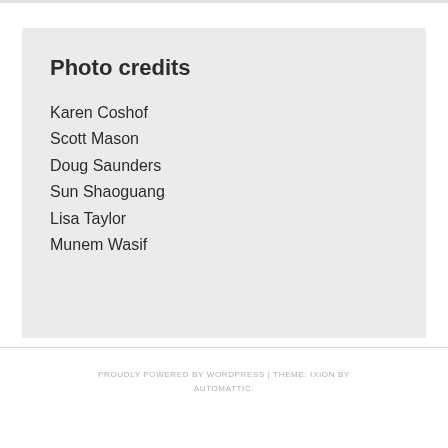Photo credits
Karen Coshof
Scott Mason
Doug Saunders
Sun Shaoguang
Lisa Taylor
Munem Wasif
PROUDLY POWERED BY WORDPRESS | THEME: IXION BY AUTOMATTIC.